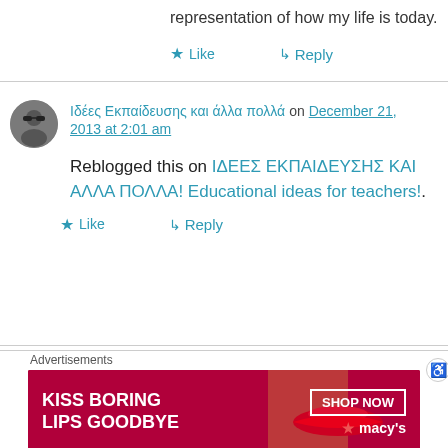representation of how my life is today.
★ Like
↳ Reply
Ιδέες Εκπαίδευσης και άλλα πολλά on December 21, 2013 at 2:01 am
Reblogged this on ΙΔΕΕΣ ΕΚΠΑΙΔΕΥΣΗΣ ΚΑΙ ΑΛΛΑ ΠΟΛΛΑ! Educational ideas for teachers!.
★ Like
↳ Reply
Advertisements
[Figure (photo): Macy's advertisement banner: KISS BORING LIPS GOODBYE with red lips photo and SHOP NOW button with macys star logo]